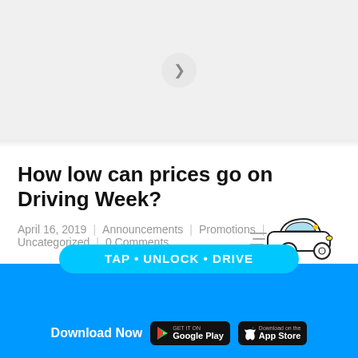[Figure (illustration): Gray placeholder area with a circular button icon in the center, representing a header image area]
How low can prices go on Driving Week?
April 16, 2019 | Announcements | Promotions | Uncategorized | 0 Comments
From 15th - 19th April 2019, SOCAR members can drive 15 different car models at crazy deals from as low as RM4.90/hour! What's more? Free lifetime membership is...
[Figure (illustration): Blue banner with car illustration and TAP • UNLOCK • DRIVE button, plus Download Now with Google Play and App Store badges]